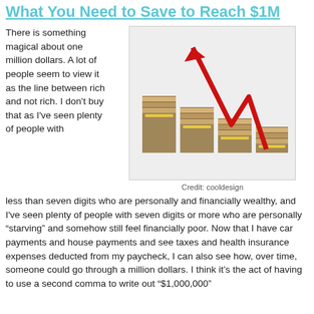What You Need to Save to Reach $1M
There is something magical about one million dollars. A lot of people seem to view it as the line between rich and not rich. I don't buy that as I've seen plenty of people with
[Figure (illustration): Stacks of dollar bills arranged in ascending staircase pattern with a red zigzag arrow pointing upward, symbolizing wealth growth]
Credit: cooldesign
less than seven digits who are personally and financially wealthy, and I've seen plenty of people with seven digits or more who are personally “starving” and somehow still feel financially poor. Now that I have car payments and house payments and see taxes and health insurance expenses deducted from my paycheck, I can also see how, over time, someone could go through a million dollars. I think it’s the act of having to use a second comma to write out “$1,000,000”